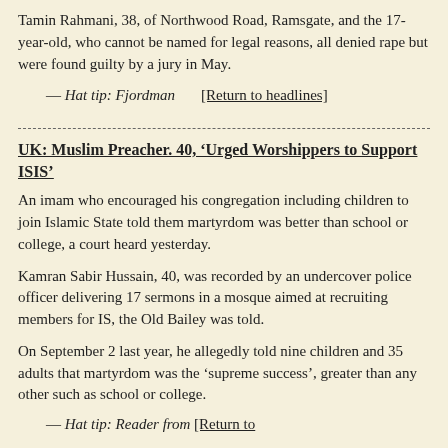Tamin Rahmani, 38, of Northwood Road, Ramsgate, and the 17-year-old, who cannot be named for legal reasons, all denied rape but were found guilty by a jury in May.
— Hat tip: Fjordman    [Return to headlines]
UK: Muslim Preacher. 40, ‘Urged Worshippers to Support ISIS’
An imam who encouraged his congregation including children to join Islamic State told them martyrdom was better than school or college, a court heard yesterday.
Kamran Sabir Hussain, 40, was recorded by an undercover police officer delivering 17 sermons in a mosque aimed at recruiting members for IS, the Old Bailey was told.
On September 2 last year, he allegedly told nine children and 35 adults that martyrdom was the ‘supreme success’, greater than any other such as school or college.
— Hat tip: Reader from    [Return to